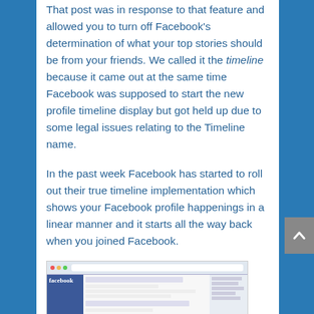That post was in response to that feature and allowed you to turn off Facebook's determination of what your top stories should be from your friends. We called it the timeline because it came out at the same time Facebook was supposed to start the new profile timeline display but got held up due to some legal issues relating to the Timeline name.
In the past week Facebook has started to roll out their true timeline implementation which shows your Facebook profile happenings in a linear manner and it starts all the way back when you joined Facebook.
[Figure (screenshot): Screenshot of Facebook's timeline profile page interface shown in a web browser window]